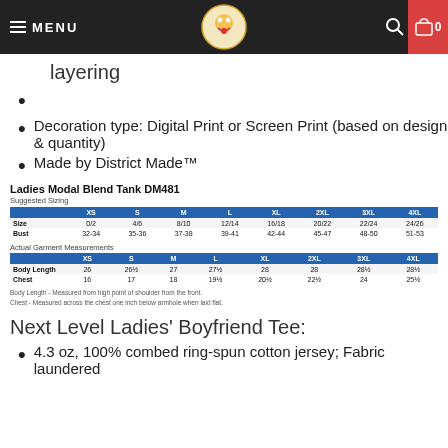MENU  [logo]  [search] 0
layering
Decoration type: Digital Print or Screen Print (based on design & quantity)
Made by District Made™
Ladies Modal Blend Tank DM481
|  | XS | S | M | L | XL | 2XL | 3XL | 4XL |
| --- | --- | --- | --- | --- | --- | --- | --- | --- |
| Size | 0/2 | 4/6 | 8/10 | 12/14 | 16/18 | 20/22 | 22/24 | 24/26 |
| Bust | 32-34 | 35-36 | 37-38 | 39-41 | 42-44 | 45-47 | 48-50 | 51-53 |
|  | XS | S | M | L | XL | 2XL | 3XL | 4XL |
| --- | --- | --- | --- | --- | --- | --- | --- | --- |
| Body Length | 26 | 26½ | 27 | 27½ | 28 | 28 | 28½ | 28½ |
| Chest | 16 | 17 | 18 | 19½ | 20½ | 22½ | 24 | 25½ |
Body Length - Measured from high point of shoulder from the front.
Chest - Measured across the chest one inch below armhole when laid flat.
Next Level Ladies' Boyfriend Tee:
4.3 oz, 100% combed ring-spun cotton jersey; Fabric laundered